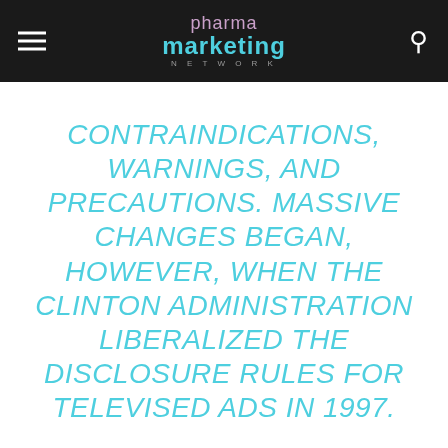pharma marketing NETWORK
CONTRAINDICATIONS, WARNINGS, AND PRECAUTIONS. MASSIVE CHANGES BEGAN, HOWEVER, WHEN THE CLINTON ADMINISTRATION LIBERALIZED THE DISCLOSURE RULES FOR TELEVISED ADS IN 1997.
[BLAME IT ALL ON CLINTON AND